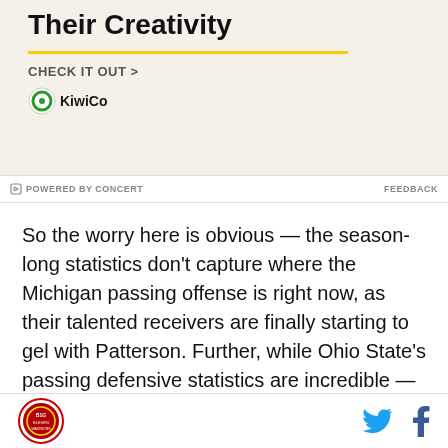[Figure (other): KiwiCo advertisement banner with title 'Children Cultivate Their Creativity', yellow horizontal line, 'CHECK IT OUT >' CTA, and KiwiCo logo]
POWERED BY CONCERT
FEEDBACK
So the worry here is obvious — the season-long statistics don't capture where the Michigan passing offense is right now, as their talented receivers are finally starting to gel with Patterson. Further, while Ohio State's passing defensive statistics are incredible — again, first in the country in both passing success rate